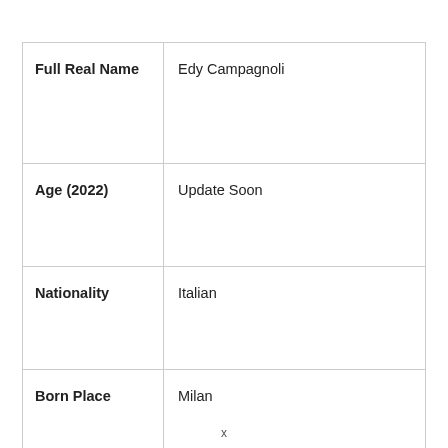| Full Real Name | Edy Campagnoli |
| Age (2022) | Update Soon |
| Nationality | Italian |
| Born Place | Milan |
|  | Actress |
x